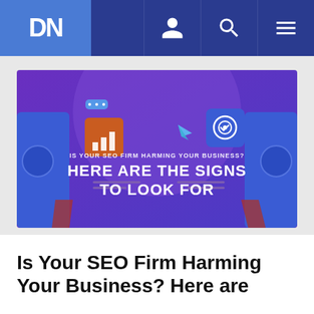DN
[Figure (illustration): Website header/article banner image with purple and blue gradient background. Text overlay reads: 'IS YOUR SEO FIRM HARMING YOUR BUSINESS?' and 'HERE ARE THE SIGNS TO LOOK FOR'. Decorative illustrated elements include stylized character figures, bar chart icon on orange square, target/goal icon on blue square, and paper airplane.]
Is Your SEO Firm Harming Your Business? Here are